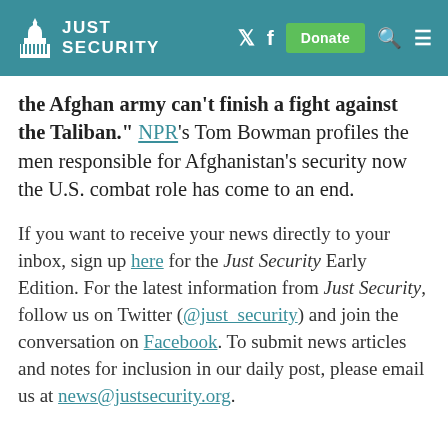Just Security
the Afghan army can't finish a fight against the Taliban." NPR's Tom Bowman profiles the men responsible for Afghanistan's security now the U.S. combat role has come to an end.
If you want to receive your news directly to your inbox, sign up here for the Just Security Early Edition. For the latest information from Just Security, follow us on Twitter (@just_security) and join the conversation on Facebook. To submit news articles and notes for inclusion in our daily post, please email us at news@justsecurity.org.